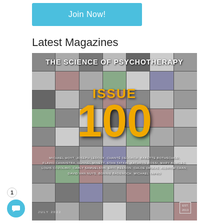Join Now!
Latest Magazines
[Figure (photo): Magazine cover for 'The Science of Psychotherapy' Issue 100. Background is a mosaic of small images. Large text reads ISSUE 100 in orange/gold. Author names listed at bottom including Michael Hoyt, Joseph LeDoux, Chanté DeLoach, Babette Rothschild, Flavio Cannistra, Gunnel Minett, Stan Tatkin, Kathryn Rossi, Mary Bowles, Louis Cozolino, Carly Samuelson, Eric Beeson, Chloe Drulis, Aldrich Chan, David Van Nuys, Bonnie Badenoch, Michael Yapko. Date: July 2022. Est. 2013.]